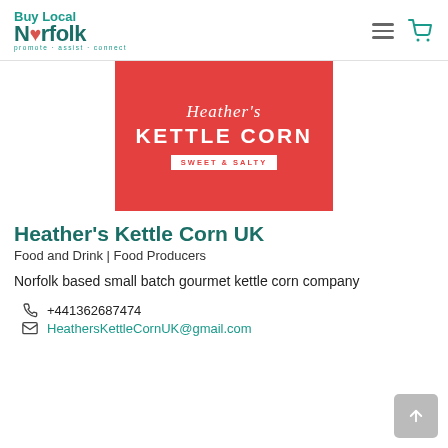Buy Local Norfolk – promote · assist · connect
[Figure (logo): Heather's Kettle Corn Sweet & Salty product logo on red background]
Heather's Kettle Corn UK
Food and Drink | Food Producers
Norfolk based small batch gourmet kettle corn company
+441362687474
HeathersKettleCornUK@gmail.com